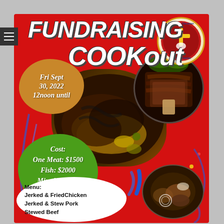[Figure (infographic): Fundraising Cookout flyer for Rehoboth Christian Worship Center. Red background with white bold italic text reading FUNDRAISING COOKOUT. Tan/brown bubble with date: Fri Sept 30, 2022 12noon until. Green blob with cost: One Meat: $1500, Fish: $2000, Mixed Lunch: $2000. White bubble at bottom with menu: Jerked & Fried Chicken, Jerked & Stew Pork, Stewed Beef. Circular logo top right with cross. Food photos of grilled meats throughout.]